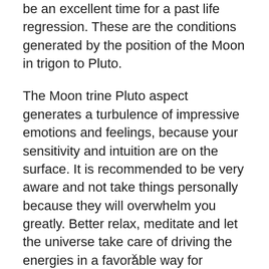be an excellent time for a past life regression. These are the conditions generated by the position of the Moon in trigon to Pluto.
The Moon trine Pluto aspect generates a turbulence of impressive emotions and feelings, because your sensitivity and intuition are on the surface. It is recommended to be very aware and not take things personally because they will overwhelm you greatly. Better relax, meditate and let the universe take care of driving the energies in a favorable way for
×